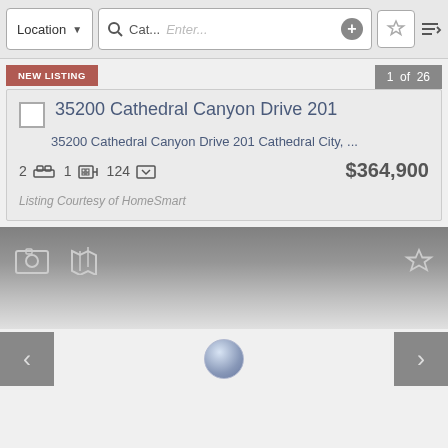[Figure (screenshot): Mobile real estate app search bar with Location dropdown, category search field with 'Cat...' and 'Enter...' placeholder, plus button, star/favorites button, and sort button]
NEW LISTING
1 of 26
35200 Cathedral Canyon Drive 201
35200 Cathedral Canyon Drive 201 Cathedral City, ...
2  [bed icon]  1  [bath icon]  124  [sqft icon]  $364,900
Listing Courtesy of HomeSmart
[Figure (screenshot): Property image/map view area with photo icon and map icon on left, star/favorite icon on right, gradient gray background]
[Figure (screenshot): Bottom navigation bar with left arrow button, circular loading indicator, and right arrow button]